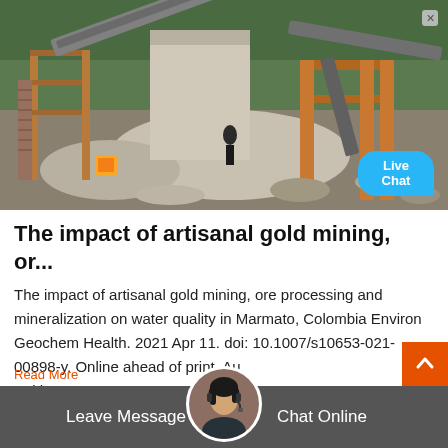[Figure (photo): Industrial artisanal gold mining facility with conveyor belts, scaffolding, machinery, and large piles of ore/rock in a forested area. A 'Live Chat' bubble is visible in the bottom right corner of the image.]
The impact of artisanal gold mining, or...
The impact of artisanal gold mining, ore processing and mineralization on water quality in Marmato, Colombia Environ Geochem Health. 2021 Apr 11. doi: 10.1007/s10653-021-00898-y. Online ahead of print. Author: Keith W Torrance ...